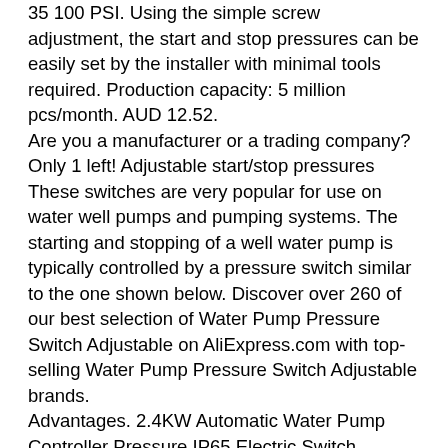35 100 PSI. Using the simple screw adjustment, the start and stop pressures can be easily set by the installer with minimal tools required. Production capacity: 5 million pcs/month. AUD 12.52. Are you a manufacturer or a trading company? Only 1 left! Adjustable start/stop pressures These switches are very popular for use on water well pumps and pumping systems. The starting and stopping of a well water pump is typically controlled by a pressure switch similar to the one shown below. Discover over 260 of our best selection of Water Pump Pressure Switch Adjustable on AliExpress.com with top-selling Water Pump Pressure Switch Adjustable brands. Advantages. 2.4KW Automatic Water Pump Controller Pressure IP65 Electric Switch Adjustable A. AUD 42.52. This provides the consumer with water again. bayite 12V DC Fresh Water Pump with 2 Hose Clamps 12 Volt Diaphragm Pump Self